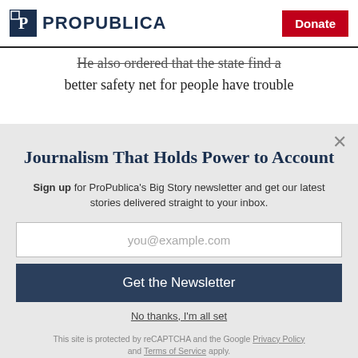ProPublica | Donate
He also ordered that the state find a better safety net for people have trouble
Journalism That Holds Power to Account
Sign up for ProPublica's Big Story newsletter and get our latest stories delivered straight to your inbox.
you@example.com
Get the Newsletter
No thanks, I'm all set
This site is protected by reCAPTCHA and the Google Privacy Policy and Terms of Service apply.